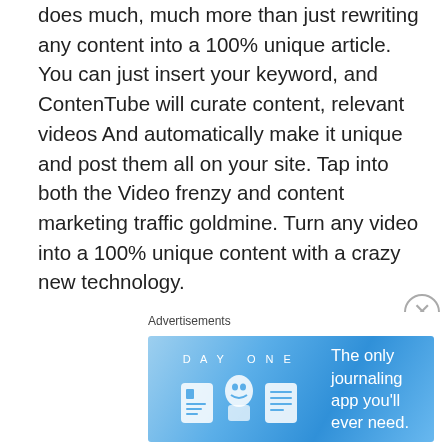does much, much more than just rewriting any content into a 100% unique article. You can just insert your keyword, and ContenTube will curate content, relevant videos And automatically make it unique and post them all on your site. Tap into both the Video frenzy and content marketing traffic goldmine. Turn any video into a 100% unique content with a crazy new technology.
Check Here:
ContenTube by Oliver Brandt – Yes, Forget About Writing Articles Yourself Or Hiring Someone To Do It For You. Now You Have The Opportunity To Become Lazy And Still Sell Unlimited Unique Content!
[Figure (other): Advertisement banner for Day One journaling app with blue gradient background showing app icons and text 'The only journaling app you'll ever need.']